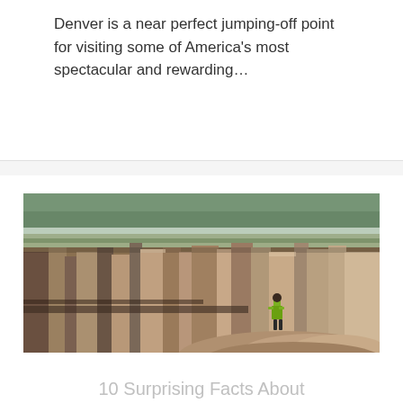Denver is a near perfect jumping-off point for visiting some of America's most spectacular and rewarding...
Read More
[Figure (photo): A person in a yellow-green jacket standing on rocky cliffs at the edge of a deep canyon, with forested mesa visible in the background against a pale sky.]
10 Surprising Facts About